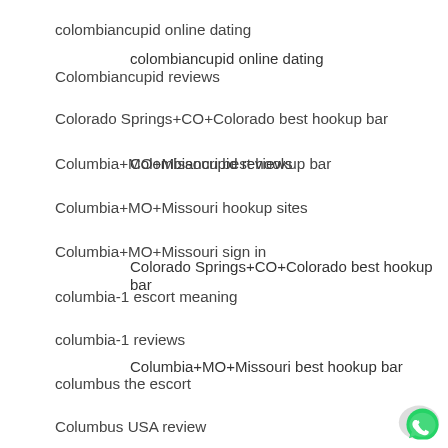colombiancupid online dating
Colombiancupid reviews
Colorado Springs+CO+Colorado best hookup bar
Columbia+MO+Missouri best hookup bar
Columbia+MO+Missouri hookup sites
Columbia+MO+Missouri sign in
columbia-1 escort meaning
columbia-1 reviews
columbus the escort
Columbus USA review